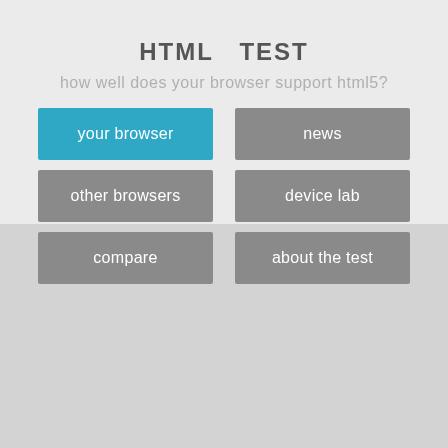HTML  TEST
how well does your browser support html5?
your browser
news
other browsers
device lab
compare
about the test